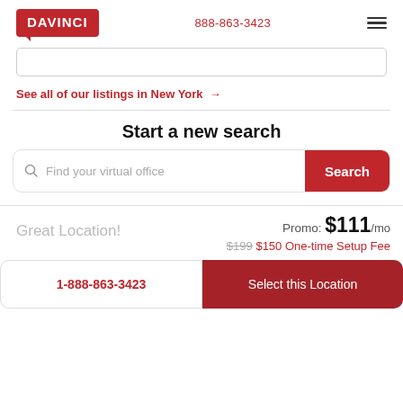[Figure (logo): DAVINCI red logo with speech bubble tail]
888-863-3423
[Figure (other): Hamburger menu icon (three horizontal lines)]
[Figure (other): Partial search input box]
See all of our listings in New York →
Start a new search
[Figure (other): Search bar with magnifier icon, placeholder text 'Find your virtual office', and red Search button]
Great Location!
Promo: $111/mo
$199 $150 One-time Setup Fee
1-888-863-3423
Select this Location